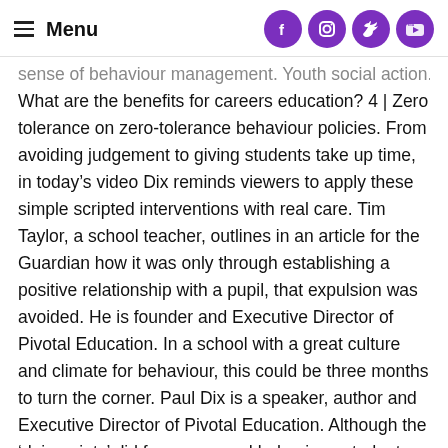Menu
sense of behaviour management. Youth social action. What are the benefits for careers education? 4 | Zero tolerance on zero-tolerance behaviour policies. From avoiding judgement to giving students take up time, in today's video Dix reminds viewers to apply these simple scripted interventions with real care. Tim Taylor, a school teacher, outlines in an article for the Guardian how it was only through establishing a positive relationship with a pupil, that expulsion was avoided. He is founder and Executive Director of Pivotal Education. In a school with a great culture and climate for behaviour, this could be three months to turn the corner. Paul Dix is a speaker, author and Executive Director of Pivotal Education. Although the 'dojo points' did focus on good behaviour, students could also acquire negative points for bad behaviour. Paul's combined system of praise and intervention work in tandem, they link together to help